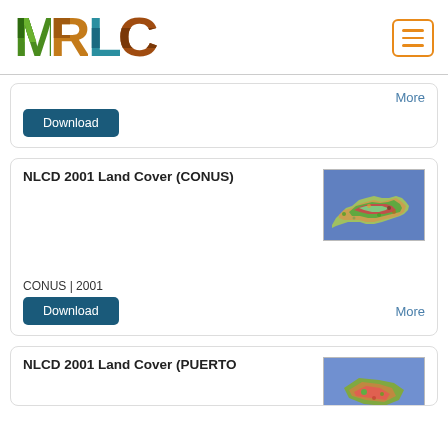[Figure (logo): MRLC logo with nature-themed letters M (green trees), R (orange/brown bark), L (teal water), C (brown earth), with hamburger menu icon top right]
Download | More
NLCD 2001 Land Cover (CONUS)
[Figure (map): Colorful NLCD land cover map of the contiguous United States (CONUS) showing various land cover types]
CONUS | 2001
Download | More
NLCD 2001 Land Cover (PUERTO